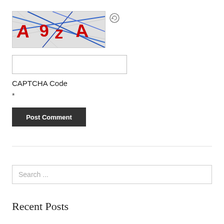[Figure (other): CAPTCHA image showing distorted text 'A9zA' in red with blue diagonal lines crossing over a gray background]
[Figure (other): Refresh/reload icon button next to the CAPTCHA image]
CAPTCHA Code
*
Post Comment
Search ...
Recent Posts